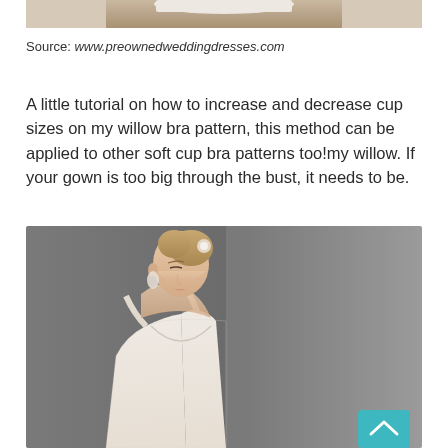[Figure (photo): Partial top portion of a wedding dress or fabric item on a wooden surface, cropped at top of page]
Source: www.preownedweddingdresses.com
A little tutorial on how to increase and decrease cup sizes on my willow bra pattern, this method can be applied to other soft cup bra patterns too!my willow. If your gown is too big through the bust, it needs to be.
[Figure (photo): Blonde woman in a white lace V-neck wedding gown with spaghetti straps, looking downward, with hair in an updo and crystal earrings, against a gray gradient background]